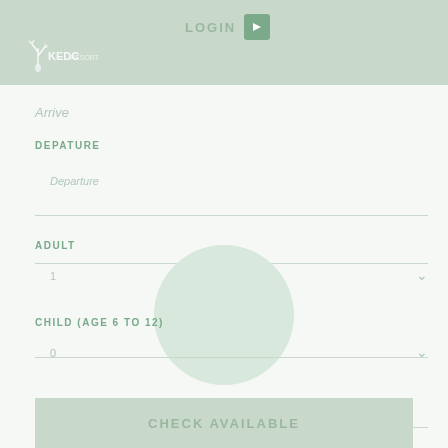LOGIN
[Figure (logo): KEDC logo with deer/antler icon and text]
Arrive
DEPATURE
Departure
ADULT
1
CHILD (AGE 6 TO 12)
0
CHECK AVAILABLE